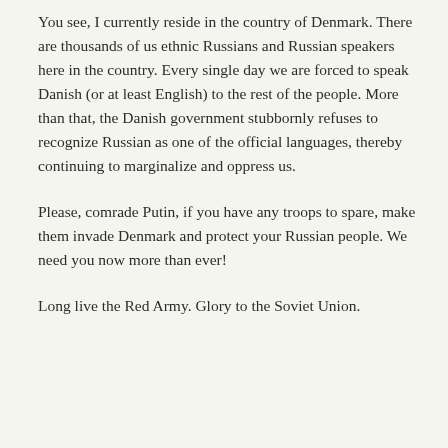You see, I currently reside in the country of Denmark. There are thousands of us ethnic Russians and Russian speakers here in the country. Every single day we are forced to speak Danish (or at least English) to the rest of the people. More than that, the Danish government stubbornly refuses to recognize Russian as one of the official languages, thereby continuing to marginalize and oppress us.
Please, comrade Putin, if you have any troops to spare, make them invade Denmark and protect your Russian people. We need you now more than ever!
Long live the Red Army. Glory to the Soviet Union.